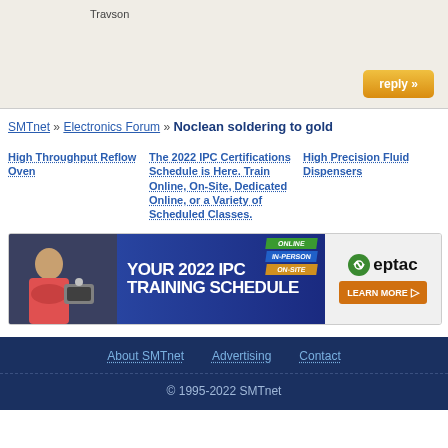Travson
[Figure (other): Reply button with gold/orange gradient styling]
SMTnet » Electronics Forum » Noclean soldering to gold
High Throughput Reflow Oven
The 2022 IPC Certifications Schedule is Here. Train Online, On-Site, Dedicated Online, or a Variety of Scheduled Classes.
High Precision Fluid Dispensers
[Figure (other): Eptac 2022 IPC Training Schedule banner advertisement with blue background, person soldering on left, colored tags (ONLINE, IN-PERSON, ON-SITE), and orange LEARN MORE button on right]
About SMTnet   Advertising   Contact
© 1995-2022 SMTnet